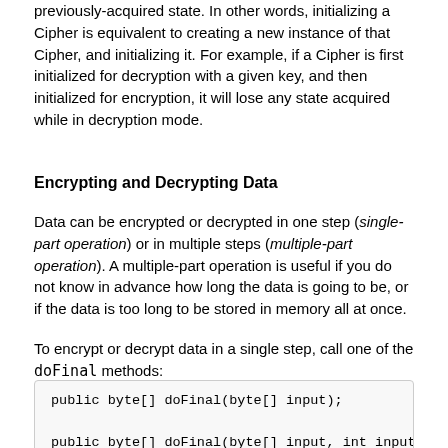previously-acquired state. In other words, initializing a Cipher is equivalent to creating a new instance of that Cipher, and initializing it. For example, if a Cipher is first initialized for decryption with a given key, and then initialized for encryption, it will lose any state acquired while in decryption mode.
Encrypting and Decrypting Data
Data can be encrypted or decrypted in one step (single-part operation) or in multiple steps (multiple-part operation). A multiple-part operation is useful if you do not know in advance how long the data is going to be, or if the data is too long to be stored in memory all at once.
To encrypt or decrypt data in a single step, call one of the doFinal methods:
public byte[] doFinal(byte[] input);

public byte[] doFinal(byte[] input, int input